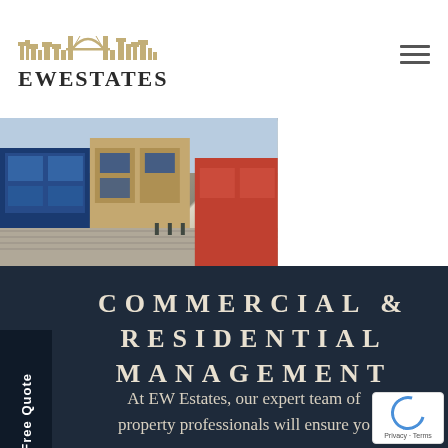[Figure (logo): EW Estates logo with skyline silhouette above bold text 'EW ESTATES']
[Figure (photo): Street-level photograph showing historic brick and stone commercial buildings with blue shop fronts on the left and a cobbled street with a pedestrian in the distance, and red granite building facade on the right]
COMMERCIAL & RESIDENTIAL MANAGEMENT
At EW Estates, our expert team of property professionals will ensure yo...